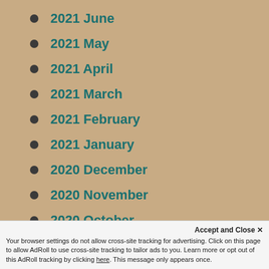2021 June
2021 May
2021 April
2021 March
2021 February
2021 January
2020 December
2020 November
2020 October
2020 September
2020 August
Accept and Close ✕ Your browser settings do not allow cross-site tracking for advertising. Click on this page to allow AdRoll to use cross-site tracking to tailor ads to you. Learn more or opt out of this AdRoll tracking by clicking here. This message only appears once.